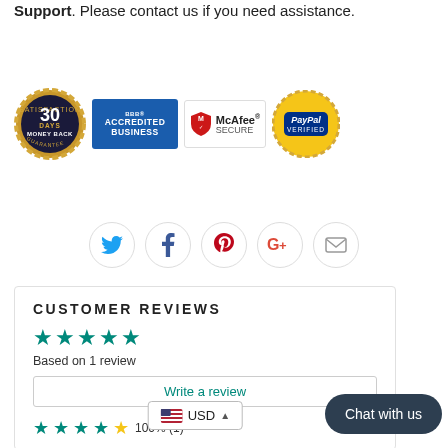Support. Please contact us if you need assistance.
[Figure (logo): Trust badges: 30 Days Money Back guarantee seal, BBB Accredited Business badge, McAfee Secure badge, PayPal Verified badge]
[Figure (infographic): Social media icon buttons in circles: Twitter, Facebook, Pinterest, Google+, Email]
CUSTOMER REVIEWS
Based on 1 review
Write a review
[Figure (infographic): 5 star rating row with 100% (1) label]
[Figure (infographic): Chat with us button overlay]
[Figure (infographic): USD currency selector dropdown]